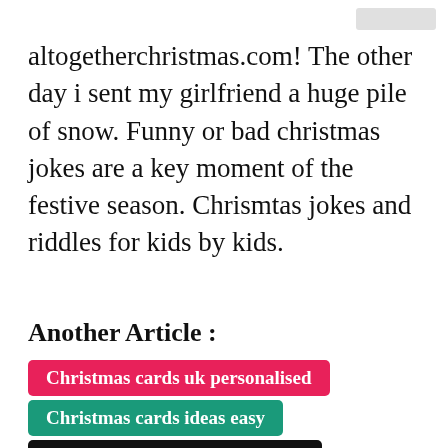altogetherchristmas.com! The other day i sent my girlfriend a huge pile of snow. Funny or bad christmas jokes are a key moment of the festive season. Chrismtas jokes and riddles for kids by kids.
Another Article :
Christmas cards uk personalised
Christmas cards ideas easy
Christmas cards photo walmart
Christmas cards charity organizations
Christmas cards uk 20✕ charity